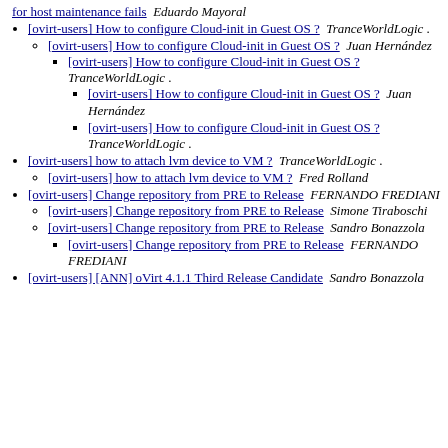[ovirt-users] for host maintenance fails  Eduardo Mayoral
[ovirt-users] How to configure Cloud-init in Guest OS ?  TranceWorldLogic .
[ovirt-users] How to configure Cloud-init in Guest OS ?  Juan Hernández
[ovirt-users] How to configure Cloud-init in Guest OS ?  TranceWorldLogic .
[ovirt-users] How to configure Cloud-init in Guest OS ?  Juan Hernández
[ovirt-users] How to configure Cloud-init in Guest OS ?  TranceWorldLogic .
[ovirt-users] how to attach lvm device to VM ?  TranceWorldLogic .
[ovirt-users] how to attach lvm device to VM ?  Fred Rolland
[ovirt-users] Change repository from PRE to Release  FERNANDO FREDIANI
[ovirt-users] Change repository from PRE to Release  Simone Tiraboschi
[ovirt-users] Change repository from PRE to Release  Sandro Bonazzola
[ovirt-users] Change repository from PRE to Release  FERNANDO FREDIANI
[ovirt-users] [ANN] oVirt 4.1.1 Third Release Candidate  Sandro Bonazzola